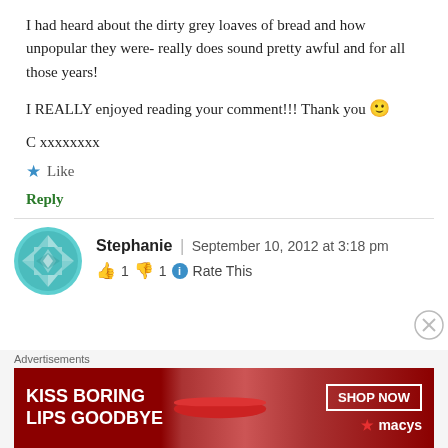I had heard about the dirty grey loaves of bread and how unpopular they were- really does sound pretty awful and for all those years!

I REALLY enjoyed reading your comment!!! Thank you 🙂

C xxxxxxxx
★ Like
Reply
Stephanie | September 10, 2012 at 3:18 pm
👍 1 👎 1 ℹ Rate This
[Figure (illustration): Circular avatar with teal/cyan decorative geometric pattern]
Advertisements KISS BORING LIPS GOODBYE SHOP NOW ★ macys